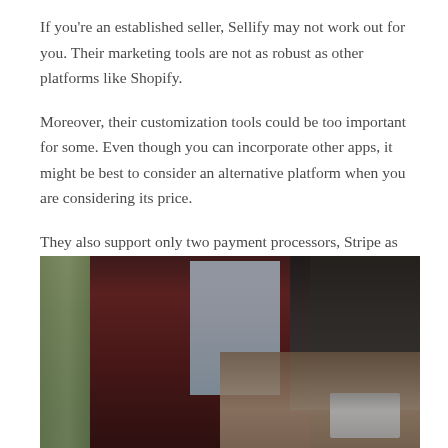If you're an established seller, Sellify may not work out for you. Their marketing tools are not as robust as other platforms like Shopify.
Moreover, their customization tools could be too important for some. Even though you can incorporate other apps, it might be best to consider an alternative platform when you are considering its price.
They also support only two payment processors, Stripe as well as PayPal. If the majority of your customer base doesn't use those, it might be hard to get them to purchase from you.
[Figure (photo): A person in a dark maroon/burgundy shirt standing at a desk in what appears to be an office or studio space, with windows visible in the background, a laptop and other items on the desk, and photography lighting equipment visible on the right side.]